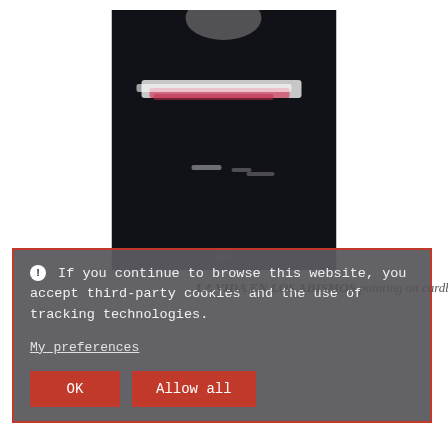[Figure (photo): Abstract painting on dark background with white and pink brushstrokes. Artwork titled 'LA VIDA EN LOS ABISMOS', painting on cardboard.]
LA VIDA EN LOS ABISMOS painting on cardboard
❶ If you continue to browse this website, you accept third-party cookies and the use of tracking technologies.
My preferences
OK
Allow all